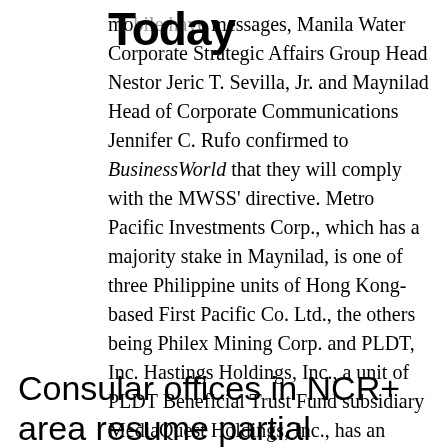Today
mobile have messages, Manila Water Corporate Strategic Affairs Group Head Nestor Jeric T. Sevilla, Jr. and Maynilad Head of Corporate Communications Jennifer C. Rufo confirmed to BusinessWorld that they will comply with the MWSS' directive. Metro Pacific Investments Corp., which has a majority stake in Maynilad, is one of three Philippine units of Hong Kong-based First Pacific Co. Ltd., the others being Philex Mining Corp. and PLDT, Inc. Hastings Holdings, Inc., a unit of PLDT Beneficial Trust Fund subsidiary MediaQuest Holdings, Inc., has an interest in BusinessWorld through the Philippine Star Group, which it controls. — Revin Mikhael D. Ochave
Consular offices in NCR+ area resume partial